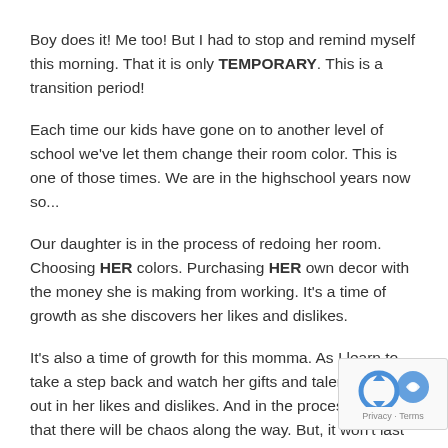Boy does it! Me too!  But I had to stop and remind myself this morning. That it is only TEMPORARY. This is a transition period!
Each time our kids have gone on to another level of school we've let them change their room color.  This is one of those times. We are in the highschool years now so...
Our daughter is in the process of redoing her room.  Choosing HER colors. Purchasing HER own decor with the money she is making from working. It's a time of growth as she discovers her likes and dislikes.
It's also a time of growth for this momma. As I learn to take a step back and watch her gifts and talents come out in her likes and dislikes.  And in the process learn that there will be chaos along the way. But, it won't last forever (I hope!). Nah, she's almost done.  My mom will be visiting soon and she wants to have it done by the time she comes to visit to surprise grandma.🙂